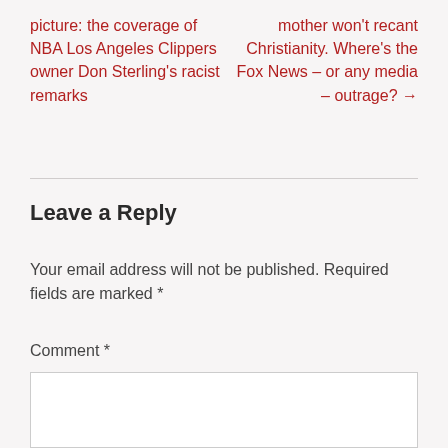picture: the coverage of NBA Los Angeles Clippers owner Don Sterling's racist remarks
mother won't recant Christianity. Where's the Fox News – or any media – outrage? →
Leave a Reply
Your email address will not be published. Required fields are marked *
Comment *